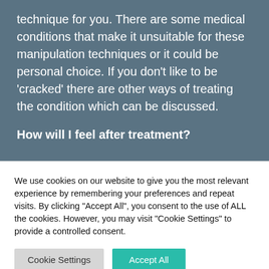technique for you. There are some medical conditions that make it unsuitable for these manipulation techniques or it could be personal choice. If you don't like to be 'cracked' there are other ways of treating the condition which can be discussed.
How will I feel after treatment?
We use cookies on our website to give you the most relevant experience by remembering your preferences and repeat visits. By clicking "Accept All", you consent to the use of ALL the cookies. However, you may visit "Cookie Settings" to provide a controlled consent.